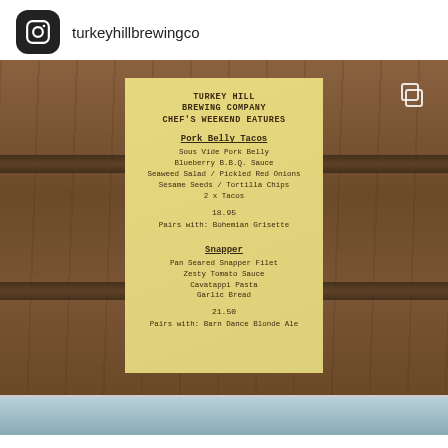turkeyhillbrewingco
[Figure (photo): Instagram post showing a menu card for Turkey Hill Brewing Company placed on a wooden barrel. The menu card lists Chef's Weekend Features including Pork Belly Tacos and Snapper dishes with ingredients, prices, and beer pairings.]
Turkey Hill Brewing Company Chef's Weekend Eatures
Pork Belly Tacos
Sous Vide Pork Belly
Blueberry B.B.Q. Sauce
Seaweed Salad / Pickled Red Onions
Sesame Seeds / Tortilla Chips
2 x Tacos
18.95
Pairs with: Bohemian Grisette
Snapper
Pan Seared Snapper Filet
Zesty Tomato Sauce
Cavatappi Pasta
Garlic Bread
21.50
Pairs with: Barn Dance Blonde Ale